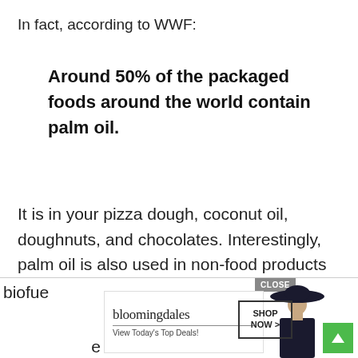In fact, according to WWF:
Around 50% of the packaged foods around the world contain palm oil.
It is in your pizza dough, coconut oil, doughnuts, and chocolates. Interestingly, palm oil is also used in non-food products like soaps, cosmetics, and toothpaste.
In some parts of the world, it is used ... biofue ... le
[Figure (screenshot): Bloomingdale's advertisement overlay with 'CLOSE' button, logo, 'View Today's Top Deals!' tagline, model photo, 'SHOP NOW >' button, and green scroll-up arrow button]